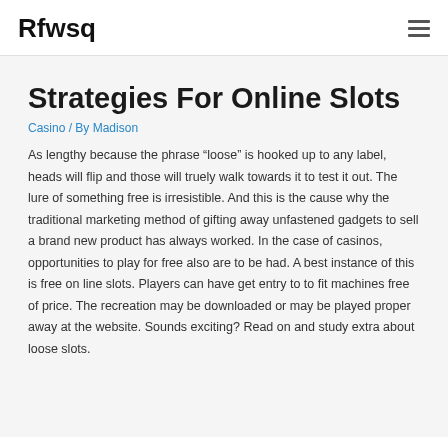Rfwsq
Strategies For Online Slots
Casino / By Madison
As lengthy because the phrase “loose” is hooked up to any label, heads will flip and those will truely walk towards it to test it out. The lure of something free is irresistible. And this is the cause why the traditional marketing method of gifting away unfastened gadgets to sell a brand new product has always worked. In the case of casinos, opportunities to play for free also are to be had. A best instance of this is free on line slots. Players can have get entry to to fit machines free of price. The recreation may be downloaded or may be played proper away at the website. Sounds exciting? Read on and study extra about loose slots.